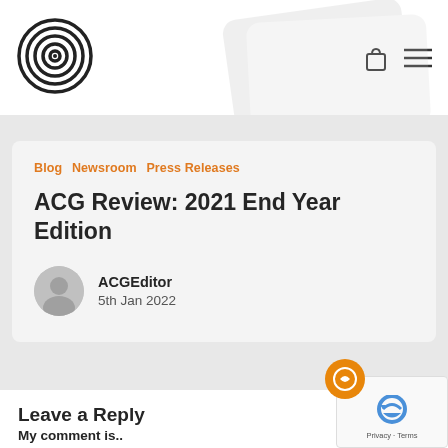ACG website header with logo and navigation icons
Blog
Newsroom
Press Releases
ACG Review: 2021 End Year Edition
ACGEditor
5th Jan 2022
Leave a Reply
My comment is..